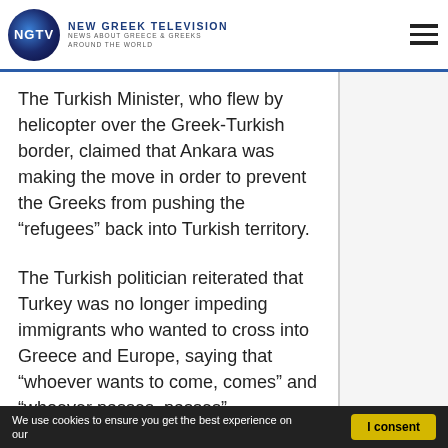NEW GREEK TELEVISION — NEWS ABOUT GREECE & GREEKS AROUND THE WORLD
The Turkish Minister, who flew by helicopter over the Greek-Turkish border, claimed that Ankara was making the move in order to prevent the Greeks from pushing the “refugees” back into Turkish territory.
The Turkish politician reiterated that Turkey was no longer impeding immigrants who wanted to cross into Greece and Europe, saying that “whoever wants to come, comes” and “whoever passes, passes”.
“We have consulted with the Armed Forces and are sending 1,000 Special Forces Police Officers, fully equipped, across the Evros River to prevent further forced return of refugees
We use cookies to ensure you get the best experience on our   I consent